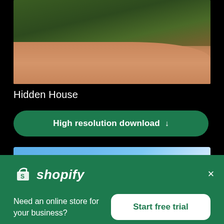[Figure (photo): Landscape photo showing a sandy dirt path curving through reddish soil with dense green and brown shrubs/trees in background]
Hidden House
High resolution download ↓
[Figure (photo): Partial photo showing a clear blue sky with a soft white cloud highlight in the upper right area]
[Figure (logo): Shopify logo: white shopping bag icon with S, and italic Shopify text in white]
Need an online store for your business?
Start free trial